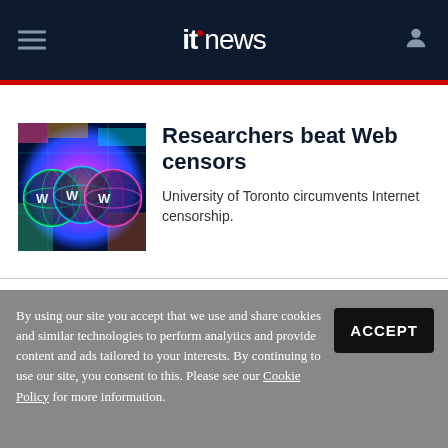itnews
[Figure (photo): Colorful digital globe/WWW imagery with holographic circles showing W letters, representing internet/web censorship topic]
Researchers beat Web censors
University of Toronto circumvents Internet censorship.
By using our site you accept that we use and share cookies and similar technologies to perform analytics and provide content and ads tailored to your interests. By continuing to use our site, you consent to this. Please see our Cookie Policy for more information.